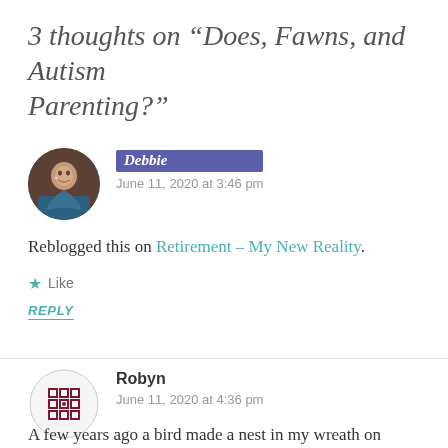3 thoughts on “Does, Fawns, and Autism Parenting?”
[Figure (photo): Circular avatar photo of Debbie, a woman with blonde/gray hair and glasses, wearing a blue patterned outfit]
Debbie
June 11, 2020 at 3:46 pm
Reblogged this on Retirement – My New Reality.
★ Like
REPLY
[Figure (illustration): Circular avatar with geometric/abstract decorative pattern in dark red/maroon and white]
Robyn
June 11, 2020 at 4:36 pm
A few years ago a bird made a nest in my wreath on